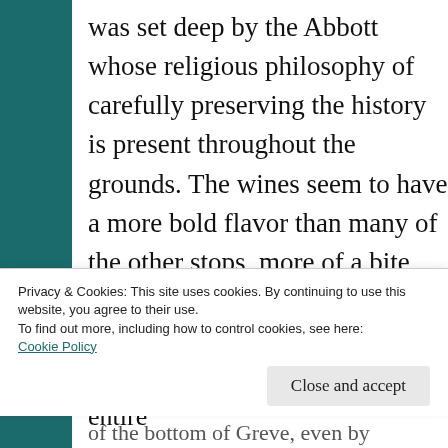was set deep by the Abbott whose religious philosophy of carefully preserving the history is present throughout the grounds. The wines seem to have a more bold flavor than many of the other stops, more of a bite, but not too intense, still flavorful and the staff was very proper but friendly at the same time.
Fattoria Castello Di Volpaia
This is the first instance where the entire
Privacy & Cookies: This site uses cookies. By continuing to use this website, you agree to their use.
To find out more, including how to control cookies, see here:
Cookie Policy
Close and accept
of the bottom of Greve, even by